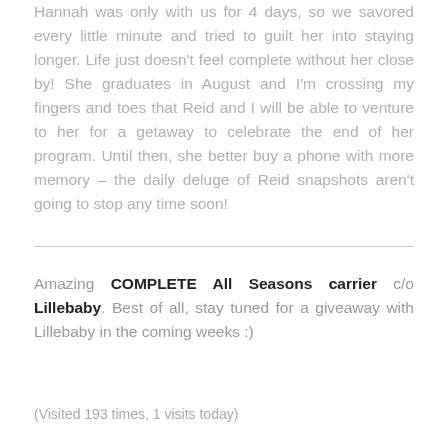Hannah was only with us for 4 days, so we savored every little minute and tried to guilt her into staying longer. Life just doesn't feel complete without her close by! She graduates in August and I'm crossing my fingers and toes that Reid and I will be able to venture to her for a getaway to celebrate the end of her program. Until then, she better buy a phone with more memory – the daily deluge of Reid snapshots aren't going to stop any time soon!
Amazing COMPLETE All Seasons carrier c/o Lillebaby. Best of all, stay tuned for a giveaway with Lillebaby in the coming weeks :)
(Visited 193 times, 1 visits today)